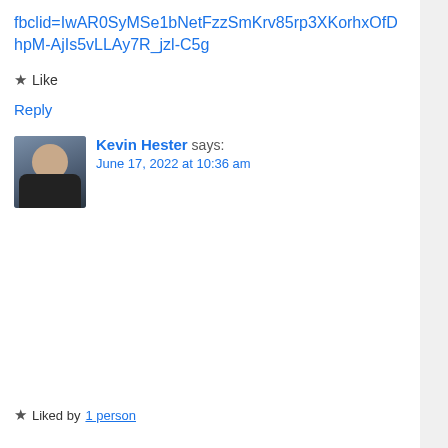fbclid=IwAR0SyMSe1bNetFzzSmKrv85rp3XKorhxOfDhpM-AjIs5vLLAy7R_jzl-C5g
Like
Reply
Kevin Hester says:
June 17, 2022 at 10:36 am
[Figure (screenshot): YouTube video thumbnail showing 'Last Arctic Ice Update Be...' with a polar map showing Arctic sea ice coverage, a man's face in the lower-left corner as the video creator's thumbnail, and a DELL monitor/taskbar visible at the bottom.]
Liked by 1 person